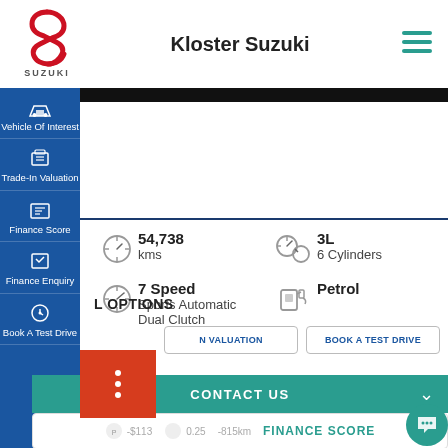[Figure (logo): Suzuki logo with red S emblem and SUZUKI text below]
Kloster Suzuki
[Figure (other): Hamburger menu icon in teal]
Vehicle Of Interest
Trade-In Valuation
Finance Score
Finance Enquiry
Book A Test Drive
54,738 kms
3L
6 Cylinders
7 Speed Sports Automatic Dual Clutch
Petrol
L OPTIONS
N VALUATION
BOOK A TEST DRIVE
CONTACT US
-$113
0.25
-815km
FINANCE SCORE